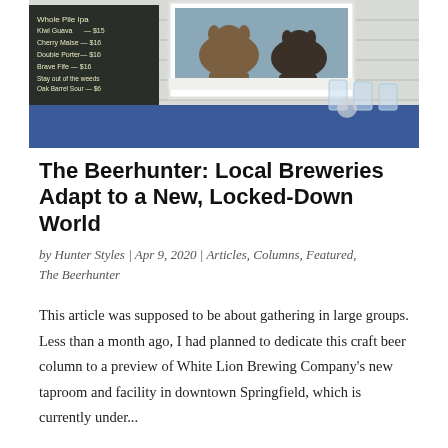[Figure (photo): Interior of a brewery taproom showing a chalkboard menu on the left with beer names and prices, a framed photo of dogs on the wall, a blue bar counter with glasses, and white shiplap walls.]
The Beerhunter: Local Breweries Adapt to a New, Locked-Down World
by Hunter Styles | Apr 9, 2020 | Articles, Columns, Featured, The Beerhunter
This article was supposed to be about gathering in large groups. Less than a month ago, I had planned to dedicate this craft beer column to a preview of White Lion Brewing Company's new taproom and facility in downtown Springfield, which is currently under...